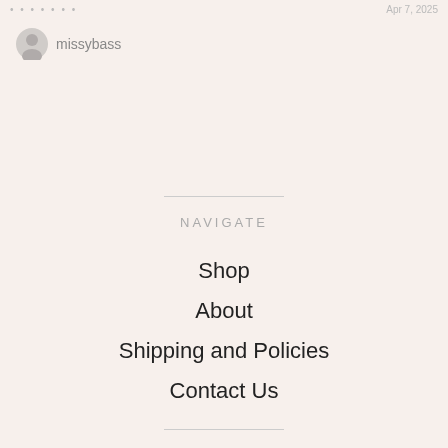missybass    Apr 7, 2025
missybass
NAVIGATE
Shop
About
Shipping and Policies
Contact Us